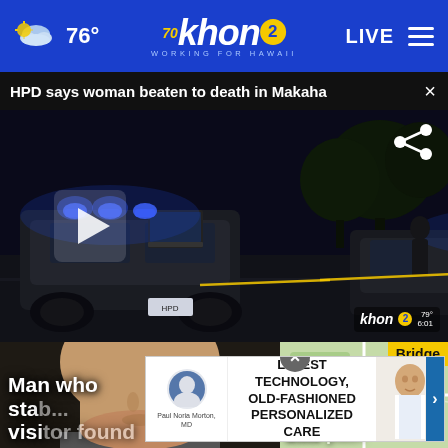76° khon2 WORKING FOR HAWAII LIVE
HPD says woman beaten to death in Makaha
[Figure (screenshot): Night-time news video still showing police vehicles with blue flashing lights at a crime scene, yellow tape visible, officers standing nearby. KHON2 watermark in bottom right. Play button overlay on left. Share icon in top right.]
[Figure (photo): Thumbnail: Man who sta[bbed] visi[tor found] — close-up face image with white headline text overlay]
[Figure (map): Thumbnail: City to repair / bike [path] — map with Golf Course label and Bridge label, with yellow highlight]
LATEST TECHNOLOGY, OLD-FASHIONED PERSONALIZED CARE — Paul Noria Morton, MD advertisement